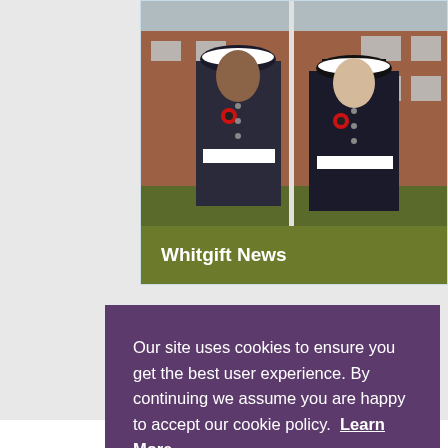[Figure (photo): Two cadets in dark naval uniforms with white caps and belts, wearing red poppy flowers, standing at attention in front of a brick building. A flagpole is visible between them.]
Whitgift News
Our site uses cookies to ensure you get the best user experience. By continuing we assume you are happy to accept our cookie policy.  Learn More
Close Notice
Summer School